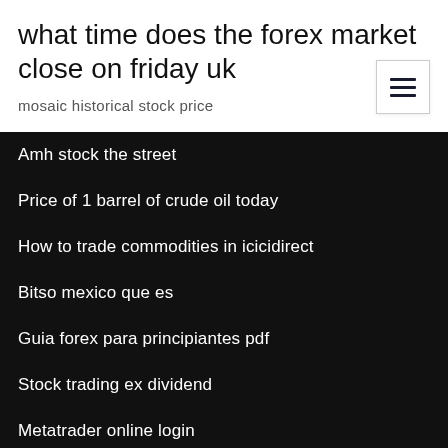what time does the forex market close on friday uk
mosaic historical stock price
Amh stock the street
Price of 1 barrel of crude oil today
How to trade commodities in icicidirect
Bitso mexico que es
Guia forex para principiantes pdf
Stock trading ex dividend
Metatrader online login
Buy bitcoin with australian bank account
Stock market snap ndk